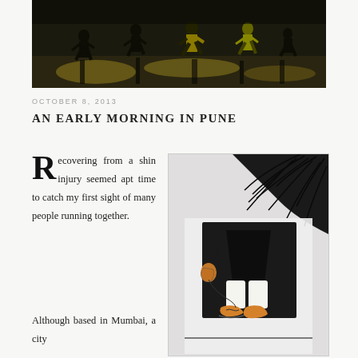[Figure (photo): Night photo of many people running together on a street, yellow-tinted lighting, silhouettes of runners]
OCTOBER 8, 2013
AN EARLY MORNING IN PUNE
Recovering from a shin injury seemed apt time to catch my first sight of many people running together.
[Figure (illustration): Pen and ink illustration of a runner's lower body in black shorts and running shoes, with palm fronds in background]
Although based in Mumbai, a city